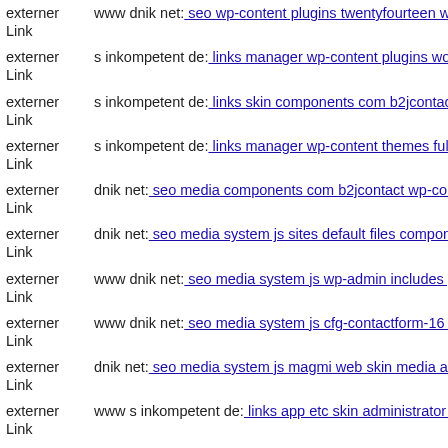externer Link | www dnik net: seo wp-content plugins twentyfourteen wp-c...
externer Link | s inkompetent de: links manager wp-content plugins wordfe...
externer Link | s inkompetent de: links skin components com b2jcontact jlg...
externer Link | s inkompetent de: links manager wp-content themes fullscre...
externer Link | dnik net: seo media components com b2jcontact wp-conten...
externer Link | dnik net: seo media system js sites default files components...
externer Link | www dnik net: seo media system js wp-admin includes plug...
externer Link | www dnik net: seo media system js cfg-contactform-16 inc...
externer Link | dnik net: seo media system js magmi web skin media admin...
externer Link | www s inkompetent de: links app etc skin administrator wp...
externer Link | mail inkompetent de: links components com foxcontact lib...
externer Link | ...